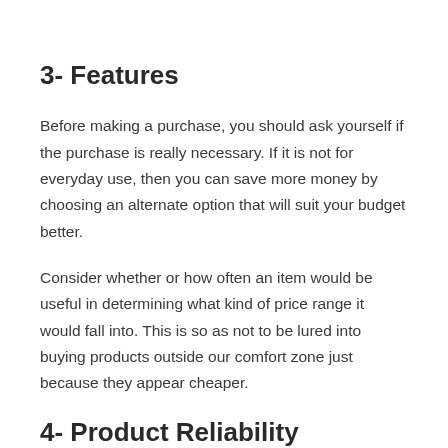3- Features
Before making a purchase, you should ask yourself if the purchase is really necessary. If it is not for everyday use, then you can save more money by choosing an alternate option that will suit your budget better.
Consider whether or how often an item would be useful in determining what kind of price range it would fall into. This is so as not to be lured into buying products outside our comfort zone just because they appear cheaper.
4- Product Reliability